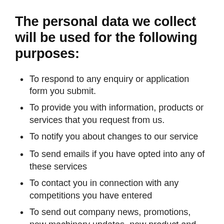The personal data we collect will be used for the following purposes:
To respond to any enquiry or application form you submit.
To provide you with information, products or services that you request from us.
To notify you about changes to our service
To send emails if you have opted into any of these services
To contact you in connection with any competitions you have entered
To send out company news, promotions, new machinery updates, new product and